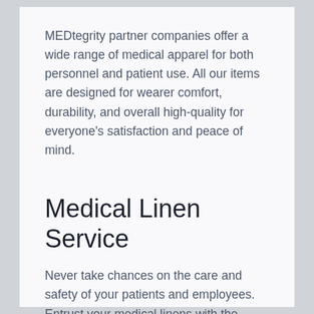MEDtegrity partner companies offer a wide range of medical apparel for both personnel and patient use. All our items are designed for wearer comfort, durability, and overall high-quality for everyone's satisfaction and peace of mind.
Medical Linen Service
Never take chances on the care and safety of your patients and employees. Entrust your medical linens with the expert service providers of the MEDtegrity network! Our service partners offer everything from your basic selection of bed and bath linens to more specific items.